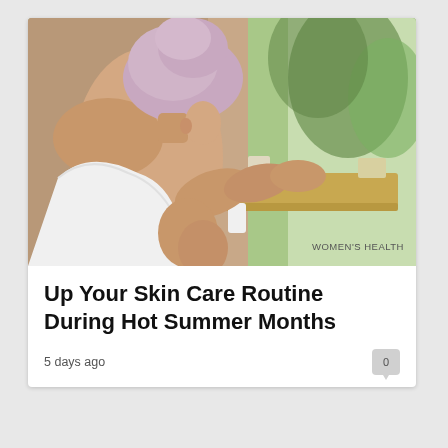[Figure (photo): Woman with a pink/lavender towel wrapped on her head, wearing a white towel, viewed from behind, applying lotion or cream to her leg. She is seated near a wooden tray with spa/skincare products and a window with green trees visible in the background.]
WOMEN'S HEALTH
Up Your Skin Care Routine During Hot Summer Months
5 days ago